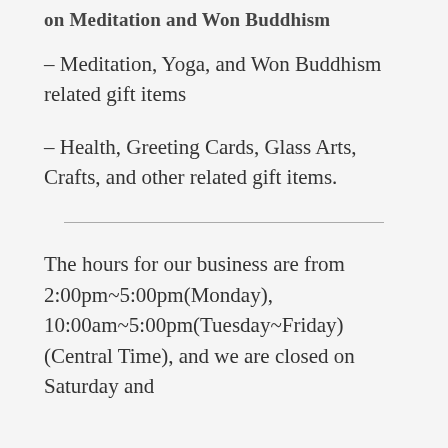on Meditation and Won Buddhism
– Meditation, Yoga, and Won Buddhism related gift items
– Health, Greeting Cards, Glass Arts, Crafts, and other related gift items.
The hours for our business are from 2:00pm~5:00pm(Monday), 10:00am~5:00pm(Tuesday~Friday)(Central Time), and we are closed on Saturday and